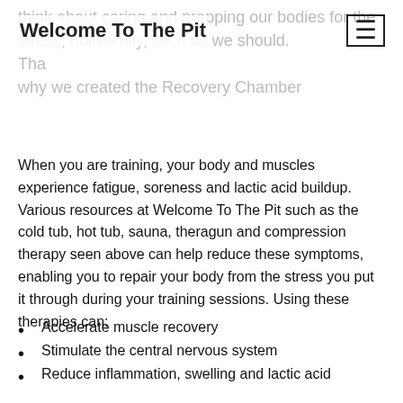Welcome To The Pit
think about caring and prepping our bodies for the stress, holistically, such as we should. That is why we created the Recovery Chamber
When you are training, your body and muscles experience fatigue, soreness and lactic acid buildup. Various resources at Welcome To The Pit such as the cold tub, hot tub, sauna, theragun and compression therapy seen above can help reduce these symptoms, enabling you to repair your body from the stress you put it through during your training sessions. Using these therapies can:
Accelerate muscle recovery
Stimulate the central nervous system
Reduce inflammation, swelling and lactic acid buildup
Aid metabolism
Improve mobility and flexibility and much more